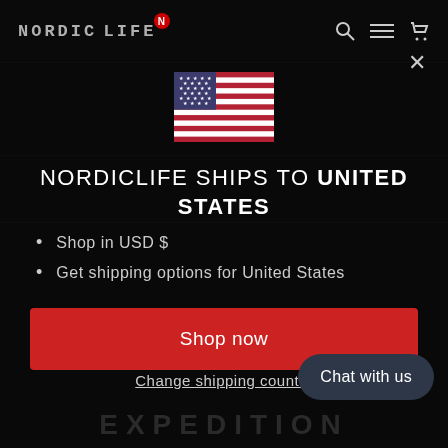NORDICLIFE — navigation header with logo, search, menu, cart icons
[Figure (illustration): United States flag emoji/image]
NORDICLIFE SHIPS TO UNITED STATES
Shop in USD $
Get shipping options for United States
Shop now
Change shipping country
Chat with us
EXPEDITION